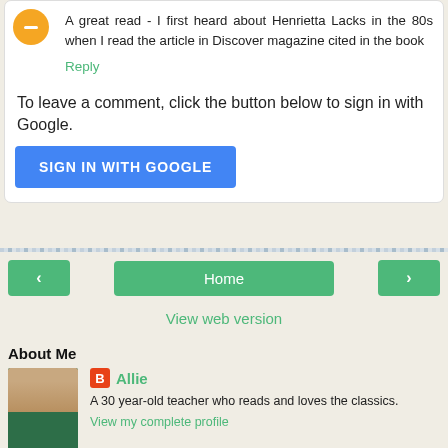A great read - I first heard about Henrietta Lacks in the 80s when I read the article in Discover magazine cited in the book
Reply
To leave a comment, click the button below to sign in with Google.
SIGN IN WITH GOOGLE
[Figure (screenshot): Navigation bar with back arrow, Home button, and forward arrow, all in green. Below: 'View web version' link in green.]
About Me
Allie
A 30 year-old teacher who reads and loves the classics.
View my complete profile